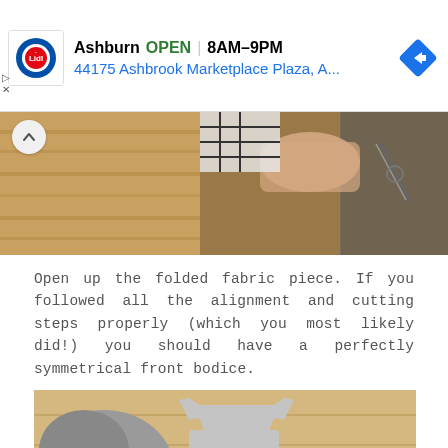[Figure (screenshot): Lidl store advertisement banner showing Ashburn location, OPEN status, hours 8AM-9PM, address 44175 Ashbrook Marketplace Plaza A.., with Lidl logo and navigation arrow icon]
[Figure (photo): Top portion of a photo showing wood planks and a person cutting fabric with scissors on a grid mat]
Open up the folded fabric piece. If you followed all the alignment and cutting steps properly (which you most likely did!) you should have a perfectly symmetrical front bodice.
[Figure (photo): Photo of a grey fabric bodice piece laid flat on a wooden surface, with folded grey fabric on the left and colorful pins on the right]